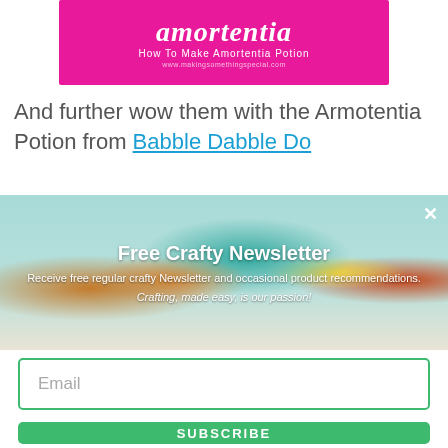[Figure (illustration): Pink banner with 'amortentia' logo text in white stylized font and subtitle 'How To Make Amortentia Potion' in white text]
And further wow them with the Armotentia Potion from Babble Dabble Do
[Figure (photo): Banner image of colorful handmade craft toys/puppets on a shelf with text overlay: 'Free Crafty Newsletter', 'Receive free regular crafty Newsletter and occasional product recommendations.', 'Crafting, made easy, is our passion!']